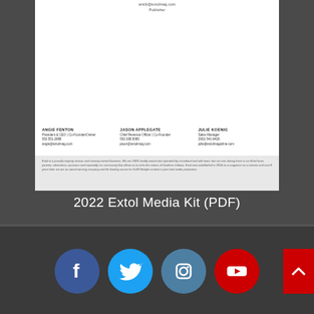anick@extolmag.com
Publisher
ANGIE FENTON
President & CEO | Co-Founder/Owner
502.551.2688
angie@extolmag.com
JASON APPLEGATE
Chief Revenue Officer | Co-Founder
502.338.5083
jason@extolmag.com
JULIE KOENIG
Sales Manager
(502) 541-6420
julie@extolmagazine.com
Extol is a proudly majority woman and minority owned business. We are 100% locally owned and operated by a husband and wife team, but our true driving force is our Extol team, parents, advertisers, sponsors and especially our community that allows us to echo the virtues of Southern Indiana. Extol was established in 2014 as a magazine on a mission and now 8 years later we are an award winning company and the leading source for SoIN lifestyle content in print and media production.
2022 Extol Media Kit (PDF)
[Figure (logo): Social media icons row: Facebook (dark blue circle with f), Twitter (light blue circle with bird), Instagram (teal-blue circle with camera), YouTube (red circle with play button), and a red back-to-top arrow button]